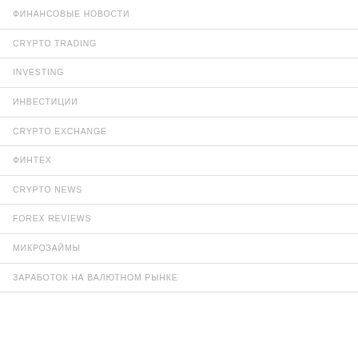ФИНАНСОВЫЕ НОВОСТИ
CRYPTO TRADING
INVESTING
ИНВЕСТИЦИИ
CRYPTO EXCHANGE
ФИНТЕХ
CRYPTO NEWS
FOREX REVIEWS
МИКРОЗАЙМЫ
ЗАРАБОТОК НА ВАЛЮТНОМ РЫНКЕ